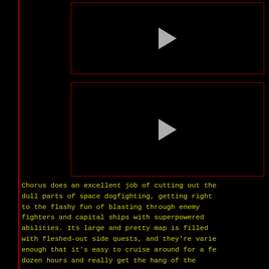[Figure (screenshot): Black video player placeholder with a play button (triangle) centered, dark background with dark red border]
[Figure (screenshot): Black video player placeholder with a play button (triangle) centered, dark background with dark red border]
Chorus does an excellent job of cutting out the dull parts of space dogfighting, getting right to the flashy fun of blasting through enemy fighters and capital ships with superpowered abilities. Its large and pretty map is filled with fleshed-out side quests, and they're varied enough that it's easy to cruise around for a few dozen hours and really get the hang of the